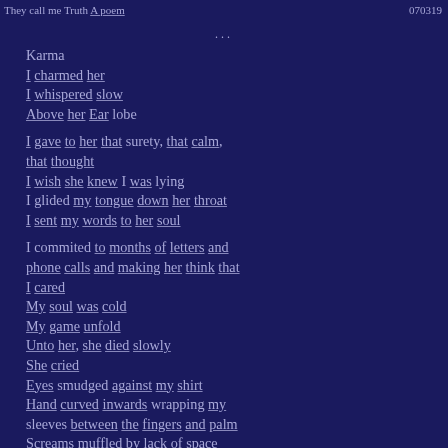They call me Truth A poem   070319
...
Karma
I charmed her
I whispered slow
Above her Ear lobe

I gave to her that surety, that calm, that thought
I wish she knew I was lying
I glided my tongue down her throat
I sent my words to her soul

I commited to months of letters and phone calls and making her think that I cared
My soul was cold
My game unfold
Unto her, she died slowly
She cried
Eyes smudged against my shirt
Hand curved inwards wrapping my sleeves between the fingers and palm
Screams muffled by lack of space
I laughed inside and cried in her hair